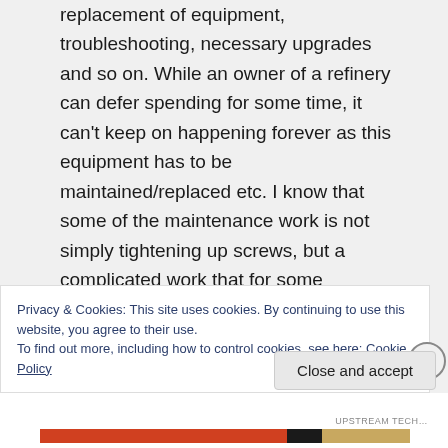replacement of equipment, troubleshooting, necessary upgrades and so on. While an owner of a refinery can defer spending for some time, it can't keep on happening forever as this equipment has to be maintained/replaced etc. I know that some of the maintenance work is not simply tightening up screws, but a complicated work that for some
Privacy & Cookies: This site uses cookies. By continuing to use this website, you agree to their use.
To find out more, including how to control cookies, see here: Cookie Policy
Close and accept